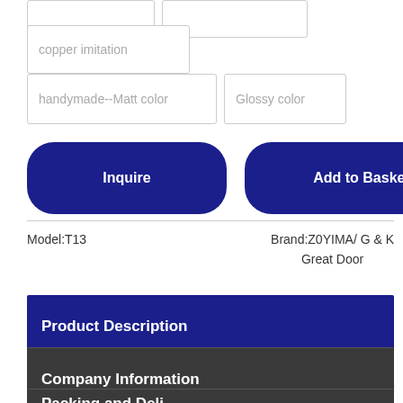copper imitation
handymade--Matt color   Glossy color
Inquire
Add to Basket
Model:T13
Brand:Z0YIMA/ G & K
Great Door
Product Description
Company Information
Packing and Deli...